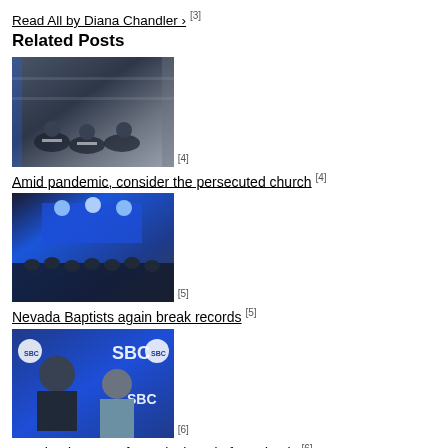Read All by Diana Chandler › [3]
Related Posts
[Figure (photo): People sitting on floor reading documents in a group setting]
[4]
Amid pandemic, consider the persecuted church [4]
[Figure (photo): Large church congregation gathered with blue stage lighting]
[5]
Nevada Baptists again break records [5]
[Figure (photo): Two people at SBC event, man and woman in front of SBC logos]
[6]
SBC leaders pray for revival, end of pandemic [6]